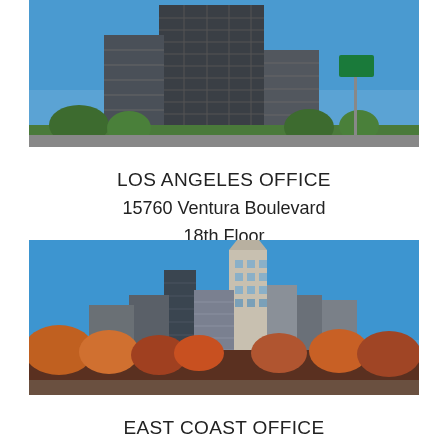[Figure (photo): Tall office building with glass facade and blue sky, Los Angeles]
LOS ANGELES OFFICE
15760 Ventura Boulevard
18th Floor
Encino, CA 91436
818.508.3700
[Figure (photo): City skyline with tall skyscrapers against blue sky, autumn trees in foreground, East Coast/Charlotte NC]
EAST COAST OFFICE
18067 West Catawba Avenue
Suite 201
Cornelius, NC 28031
704.765.1409